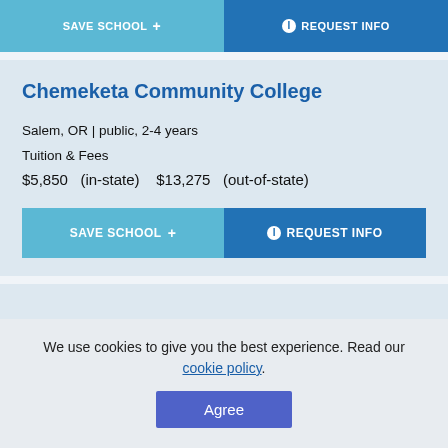[Figure (screenshot): Top card showing SAVE SCHOOL and REQUEST INFO buttons from a previous school listing (partially visible)]
Chemeketa Community College
Salem, OR | public, 2-4 years
Tuition & Fees
$5,850   (in-state)    $13,275   (out-of-state)
SAVE SCHOOL +
REQUEST INFO
We use cookies to give you the best experience. Read our cookie policy.
Agree